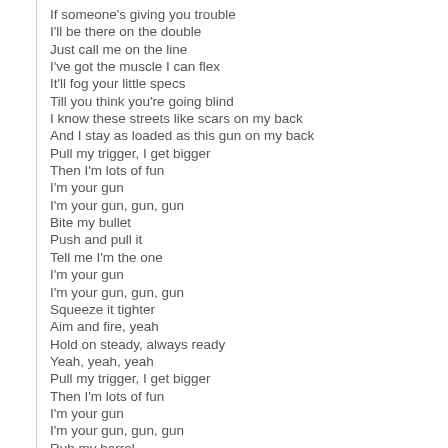If someone's giving you trouble
I'll be there on the double
Just call me on the line
I've got the muscle I can flex
It'll fog your little specs
Till you think you're going blind
I know these streets like scars on my back
And I stay as loaded as this gun on my back
Pull my trigger, I get bigger
Then I'm lots of fun
I'm your gun
I'm your gun, gun, gun
Bite my bullet
Push and pull it
Tell me I'm the one
I'm your gun
I'm your gun, gun, gun
Squeeze it tighter
Aim and fire, yeah
Hold on steady, always ready
Yeah, yeah, yeah
Pull my trigger, I get bigger
Then I'm lots of fun
I'm your gun
I'm your gun, gun, gun
Rub my barrel
Straight and narrow
Dress up like a nun
I'm your gun